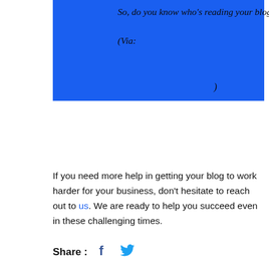So, do you know who’s reading your blog? (Via: )
If you need more help in getting your blog to work harder for your business, don’t hesitate to reach out to us. We are ready to help you succeed even in these challenging times.
Share :